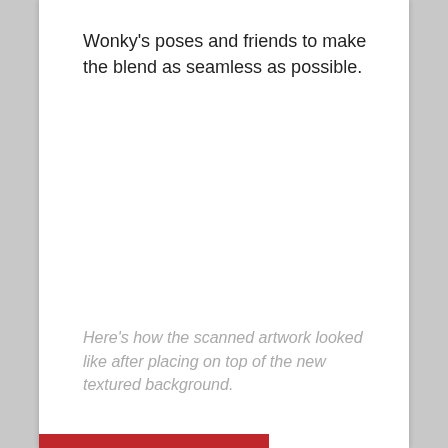Wonky's poses and friends to make the blend as seamless as possible.
Here's how the scanned artwork looked like after placing on top of the new textured background.